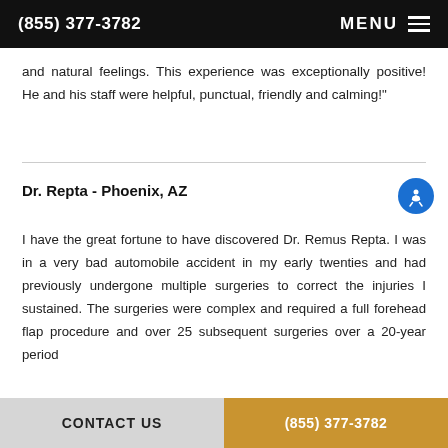(855) 377-3782  MENU
and natural feelings. This experience was exceptionally positive! He and his staff were helpful, punctual, friendly and calming!"
Dr. Repta - Phoenix, AZ
I have the great fortune to have discovered Dr. Remus Repta. I was in a very bad automobile accident in my early twenties and had previously undergone multiple surgeries to correct the injuries I sustained. The surgeries were complex and required a full forehead flap procedure and over 25 subsequent surgeries over a 20-year period
CONTACT US  (855) 377-3782